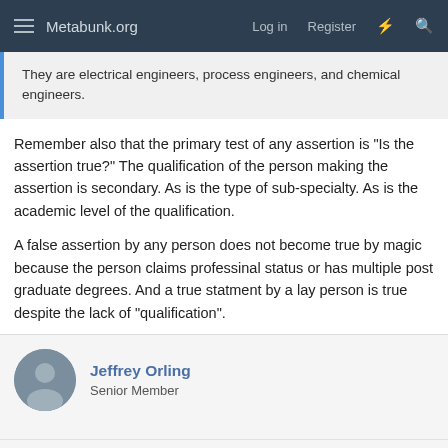Metabunk.org  Log in  Register
They are electrical engineers, process engineers, and chemical engineers.
Remember also that the primary test of any assertion is "Is the assertion true?" The qualification of the person making the assertion is secondary. As is the type of sub-specialty. As is the academic level of the qualification.
A false assertion by any person does not become true by magic because the person claims professinal status or has multiple post graduate degrees. And a true statment by a lay person is true despite the lack of "qualification".
Jeffrey Orling
Senior Member
Oct 4, 2020
#146
It should be noted that the primary